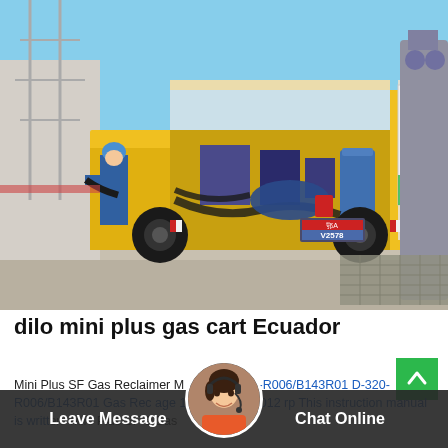[Figure (photo): A yellow utility truck with open rear compartment containing equipment and hoses, parked at what appears to be an electrical substation. A worker in blue uniform and helmet is visible on the left side. Chinese license plate V2578 is visible.]
dilo mini plus gas cart Ecuador
Mini Plus SF Gas Reclaimer M No.: D-320-R006/B143R01 D-320-R006/B143R01 Gas Rec age 1 Rev. 06/21/2012 rp This instruction manual is written Mini Plus SF 6 Gas
[Figure (photo): Customer service avatar - woman with headset]
Leave Message
Chat Online